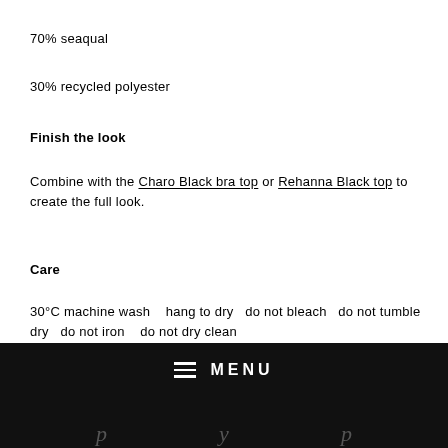70% seaqual
30% recycled polyester
Finish the look
Combine with the Charo Black bra top or Rehanna Black top to create the full look.
Care
30°C machine wash    hang to dry    do not bleach    do not tumble dry    do not iron    do not dry clean
MENU